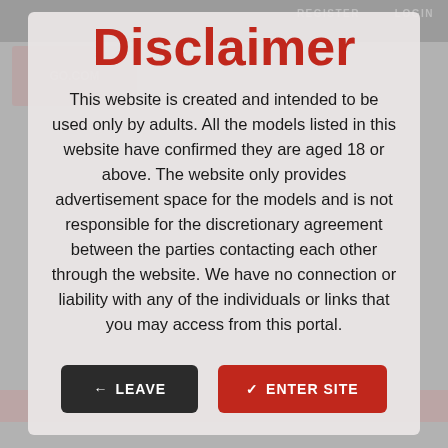Disclaimer
This website is created and intended to be used only by adults. All the models listed in this website have confirmed they are aged 18 or above. The website only provides advertisement space for the models and is not responsible for the discretionary agreement between the parties contacting each other through the website. We have no connection or liability with any of the individuals or links that you may access from this portal.
← LEAVE
✓ ENTER SITE